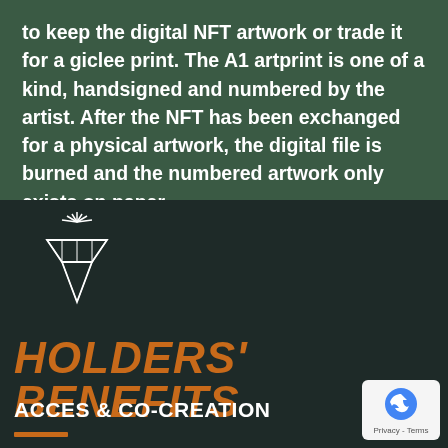to keep the digital NFT artwork or trade it for a giclee print. The A1 artprint is one of a kind, handsigned and numbered by the artist. After the NFT has been exchanged for a physical artwork, the digital file is burned and the numbered artwork only exists on paper.
[Figure (illustration): Line drawing of a diamond gemstone with sparkle lines radiating from the top, white outline on dark background]
HOLDERS' BENEFITS
ACCES & CO-CREATION
[Figure (logo): Google reCAPTCHA badge with recycling-arrow icon and Privacy - Terms text]